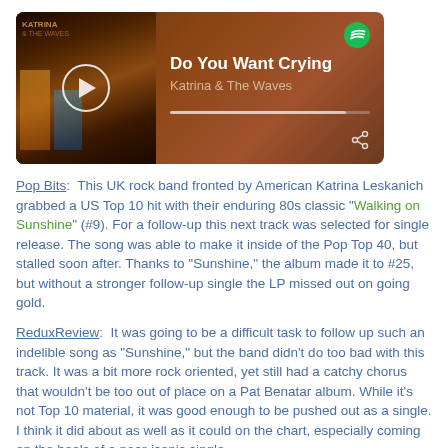[Figure (screenshot): Spotify embedded player showing 'Do You Want Crying' by Katrina & The Waves, with album art, play button, progress bar, Spotify logo, and share icon.]
Pop Bits:  This UK rock band fronted by American Katrina Leskanich grabbed a US Top 10 hit with their enduring 80s classic "Walking on Sunshine" (#9). For a follow-up this next track was selected for single release. The song was able to make it inside of the Pop Top 40, but stalled soon after. Thanks to "Sunshine," the album made it to #25, but without a stronger follow-up single the LP missed out on going gold.
ReduxReview:  It was going to be a difficult task to follow up such an indelible song as "Sunshine," but the band didn't do too bad with this track. It was a bit more rock oriented, yet still had a catchy chorus that wouldn't be too out of place on a Pat Benatar album. While it's not Top 10 material, it was good enough to be pushed out as a single. I think it did about as well as it could on the chart, especially coming on the heels of a near-iconic single.